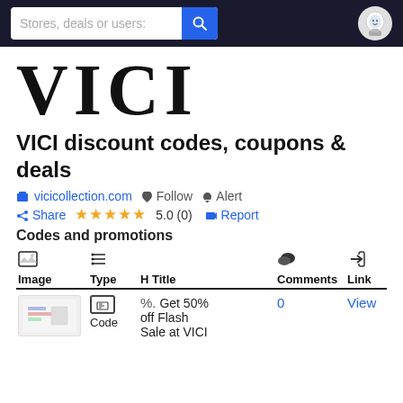Stores, deals or users: [search] [avatar]
[Figure (logo): VICI brand logo in large serif black letters]
VICI discount codes, coupons & deals
vicicollection.com  Follow  Alert  Share  ★★★★★ 5.0 (0)  Report
Codes and promotions
| Image | Type | H Title | Comments | Link |
| --- | --- | --- | --- | --- |
| [coupon image] | Code | % Get 50% off Flash Sale at VICI | 0 | View |